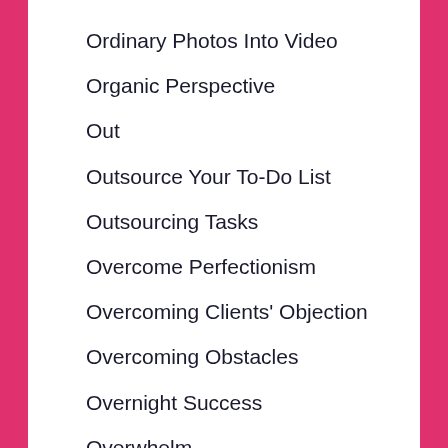Ordinary Photos Into Video
Organic Perspective
Out
Outsource Your To-Do List
Outsourcing Tasks
Overcome Perfectionism
Overcoming Clients' Objection
Overcoming Obstacles
Overnight Success
Overwhelm